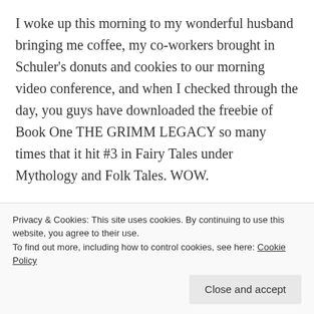I woke up this morning to my wonderful husband bringing me coffee, my co-workers brought in Schuler's donuts and cookies to our morning video conference, and when I checked through the day, you guys have downloaded the freebie of Book One THE GRIMM LEGACY so many times that it hit #3 in Fairy Tales under Mythology and Folk Tales. WOW.

Just a reminder that this freebie is ONLY for today. If you've been meaning to download the book, please do so before the end of the day! I have to thank my
Privacy & Cookies: This site uses cookies. By continuing to use this website, you agree to their use.
To find out more, including how to control cookies, see here: Cookie Policy
Close and accept
ALSO. These continue the saga of Jamie, Pilar, Bert,